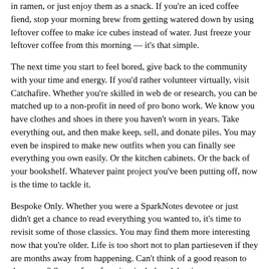in ramen, or just enjoy them as a snack. If you're an iced coffee fiend, stop your morning brew from getting watered down by using leftover coffee to make ice cubes instead of water. Just freeze your leftover coffee from this morning — it's that simple.
The next time you start to feel bored, give back to the community with your time and energy. If you'd rather volunteer virtually, visit Catchafire. Whether you're skilled in web de or research, you can be matched up to a non-profit in need of pro bono work. We know you have clothes and shoes in there you haven't worn in years. Take everything out, and then make keep, sell, and donate piles. You may even be inspired to make new outfits when you can finally see everything you own easily. Or the kitchen cabinets. Or the back of your bookshelf. Whatever paint project you've been putting off, now is the time to tackle it.
Bespoke Only. Whether you were a SparkNotes devotee or just didn't get a chance to read everything you wanted to, it's time to revisit some of those classics. You may find them more interesting now that you're older. Life is too short not to plan partieseven if they are months away from happening. Can't think of a good reason to throw one? Some of our favorites include celebrating a great new cocktail recipe, a promotion, or just because your apartment is clean and you want to show it off.
If you've had a stressful week, there's nothing like a quick 20...